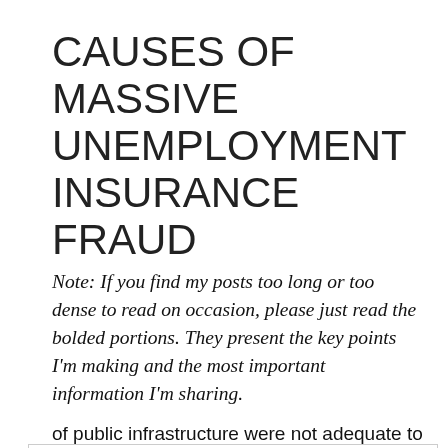CAUSES OF MASSIVE UNEMPLOYMENT INSURANCE FRAUD
Note: If you find my posts too long or too dense to read on occasion, please just read the bolded portions. They present the key points I'm making and the most important information I'm sharing.
Privacy & Cookies: This site uses cookies. By continuing to use this website, you agree to their use.
To find out more, including how to control cookies, see here:
Cookie Policy
Close and accept
of public infrastructure were not adequate to